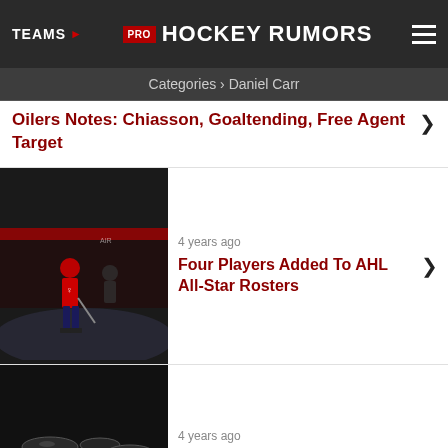TEAMS ▶  PRO HOCKEY RUMORS  ☰
Categories › Daniel Carr
Oilers Notes: Chiasson, Goaltending, Free Agent Target
4 years ago
Four Players Added To AHL All-Star Rosters
4 years ago
AHL All-Star Rosters Announced
LOAD MORE FROM THIS CATEGORY
TOP STORIES
Buffalo Sabres Extend Tage Thompson
ADVERTISEMENT